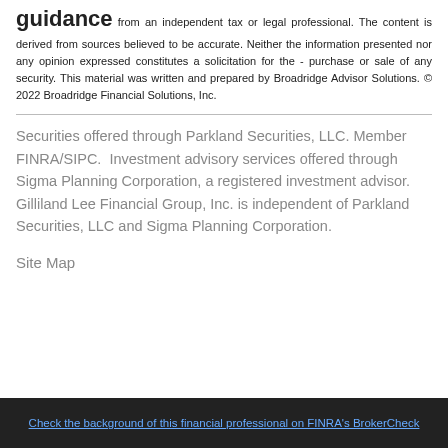guidance from an independent tax or legal professional. The content is derived from sources believed to be accurate. Neither the information presented nor any opinion expressed constitutes a solicitation for the purchase or sale of any security. This material was written and prepared by Broadridge Advisor Solutions. © 2022 Broadridge Financial Solutions, Inc.
Securities offered through Parkland Securities, LLC. Member FINRA/SIPC. Investment advisory services offered through Sigma Planning Corporation, a registered investment advisor. Gilliland Lee Financial Group, Inc. is independent of Parkland Securities, LLC and Sigma Planning Corporation.
Site Map
Check the background of this financial professional on FINRA's BrokerCheck